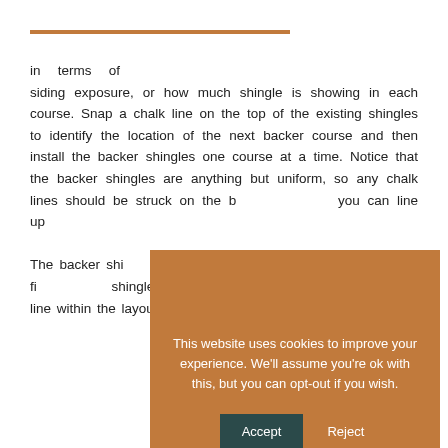in terms of siding exposure, or how much shingle is showing in each course. Snap a chalk line on the top of the existing shingles to identify the location of the next backer course and then install the backer shingles one course at a time. Notice that the backer shingles are anything but uniform, so any chalk lines should be struck on the b[acker shingles] you can line up [the shingles]. The backer shi[ngles follow the] manufacturer's [specifications,] as should the fir[st course. The] shingles are b[ased on the] placement of th[e] shadow line within the layout. This helps us snap chalk
[Figure (screenshot): Cookie consent overlay with orange/brown background. Text reads: 'This website uses cookies to improve your experience. We'll assume you're ok with this, but you can opt-out if you wish.' Two buttons: Accept (dark teal) and Reject (white text). Privacy Policy link underlined at bottom.]